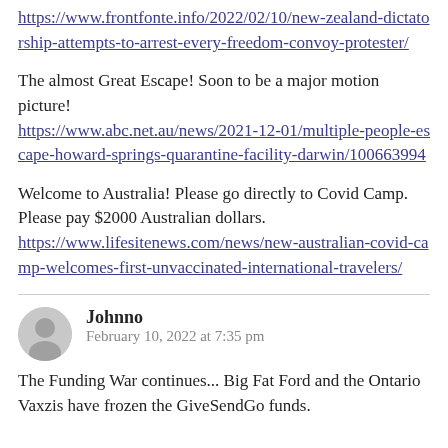https://www.frontfonte.info/2022/02/10/new-zealand-dictatorship-attempts-to-arrest-every-freedom-convoy-protester/
The almost Great Escape! Soon to be a major motion picture!
https://www.abc.net.au/news/2021-12-01/multiple-people-escape-howard-springs-quarantine-facility-darwin/100663994
Welcome to Australia! Please go directly to Covid Camp. Please pay $2000 Australian dollars.
https://www.lifesitenews.com/news/new-australian-covid-camp-welcomes-first-unvaccinated-international-travelers/
Johnno
February 10, 2022 at 7:35 pm
The Funding War continues... Big Fat Ford and the Ontario Vaxzis have frozen the GiveSendGo funds.